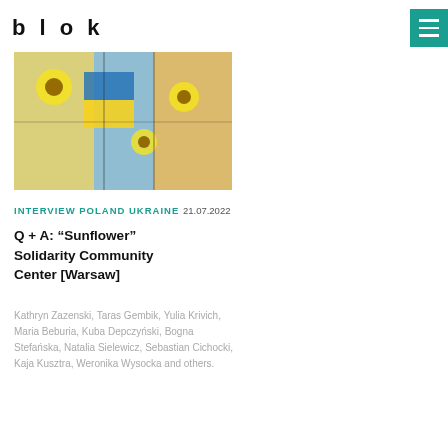blok
[Figure (photo): Colorful artistic installation with yellow sunflowers, blue and yellow Ukrainian flag colors, and hanging decorative elements]
INTERVIEW POLAND UKRAINE 21.07.2022
Q + A: “Sunflower” Solidarity Community Center [Warsaw]
Kathryn Zazenski, Taras Gembik, Yulia Krivich, Maria Beburia, Kuba Depczyński, Bogna Stefańska, Natalia Sielewicz, Sebastian Cichocki, Kaja Kusztra, Weronika Wysocka and others.